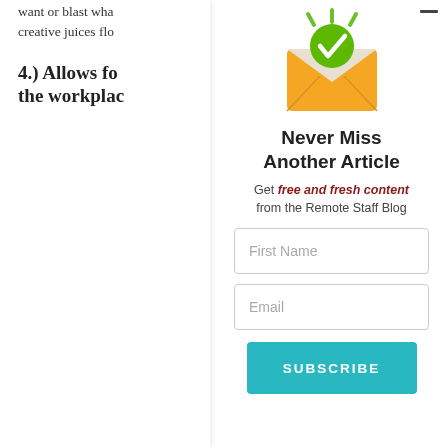want or blast who creative juices flo
4.) Allows for the workplac
[Figure (illustration): Envelope icon with green checkmark badge and green sparkle lines radiating from top, orange envelope with white flap]
Never Miss Another Article
Get free and fresh content from the Remote Staff Blog
First Name
Email
SUBSCRIBE